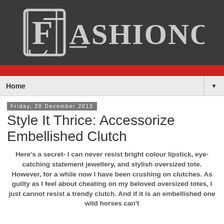[Figure (logo): Fashionopolis logo — white stylized letter F with scroll design on dark grey background]
Home ▼
Friday, 20 December 2013
Style It Thrice: Accessorize Embellished Clutch
Here's a secret- I can never resist bright colour lipstick, eye-catching statement jewellery, and stylish oversized tote. However, for a while now I have been crushing on clutches. As guilty as I feel about cheating on my beloved oversized totes, I just cannot resist a trendy clutch. And if it is an embellished one wild horses can't